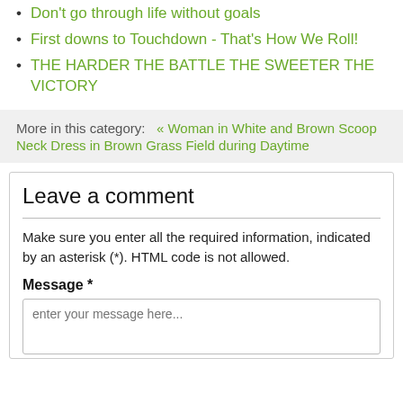Don't go through life without goals
First downs to Touchdown - That's How We Roll!
THE HARDER THE BATTLE THE SWEETER THE VICTORY
More in this category:   « Woman in White and Brown Scoop Neck Dress in Brown Grass Field during Daytime
Leave a comment
Make sure you enter all the required information, indicated by an asterisk (*). HTML code is not allowed.
Message *